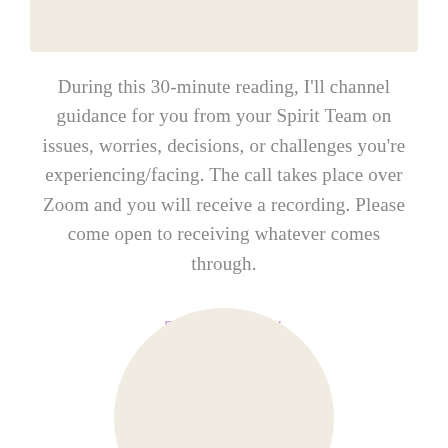[Figure (illustration): Light beige/cream rectangular banner at the top of the page]
During this 30-minute reading, I'll channel guidance for you from your Spirit Team on issues, worries, decisions, or challenges you're experiencing/facing. The call takes place over Zoom and you will receive a recording. Please come open to receiving whatever comes through.
BOOK NOW
[Figure (illustration): Light beige/cream half-circle shape at the bottom of the page]